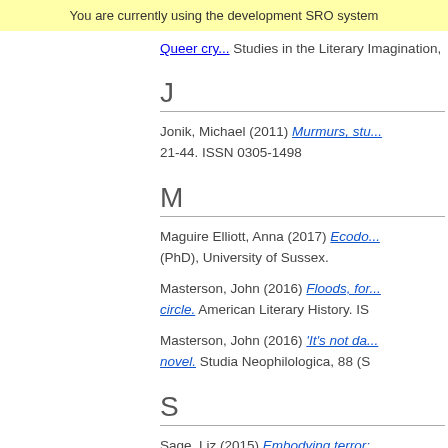You are currently using the development SRO system
Queer cry... Studies in the Literary Imagination,
J
Jonik, Michael (2011) Murmurs, stu... 21-44. ISSN 0305-1498
M
Maguire Elliott, Anna (2017) Ecodo... (PhD), University of Sussex.
Masterson, John (2016) Floods, for... circle. American Literary History. IS
Masterson, John (2016) 'It's not da... novel. Studia Neophilologica, 88 (S
S
Sage, Liz (2015) Embodying terror:... Building a new world: Luce Irigaray